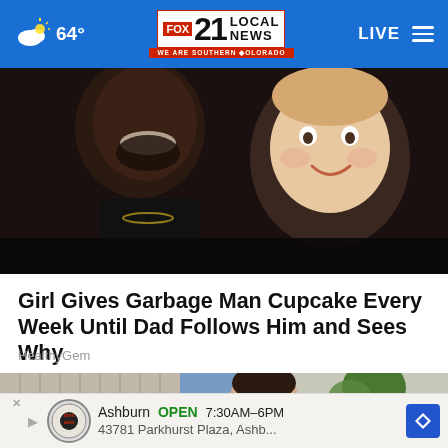64° FOX 21 LOCAL NEWS — WE ARE SOUTHERN COLORADO — LIVE
[Figure (photo): Photo of a man and a young toddler smiling together]
Girl Gives Garbage Man Cupcake Every Week Until Dad Follows Him and Sees Why
HealthyGem
[Figure (photo): Photo of a smiling young woman outdoors near trees and a street]
Ashburn  OPEN  7:30AM–6PM  43781 Parkhurst Plaza, Ashb...